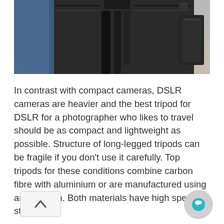[Figure (photo): Close-up photograph of a camera tripod strapped to a black camera backpack, being carried by a person wearing jeans. The tripod legs and bag zipper are visible.]
In contrast with compact cameras, DSLR cameras are heavier and the best tripod for DSLR for a photographer who likes to travel should be as compact and lightweight as possible. Structure of long-legged tripods can be fragile if you don't use it carefully. Top tripods for these conditions combine carbon fibre with aluminium or are manufactured using any of them. Both materials have high specific strength.